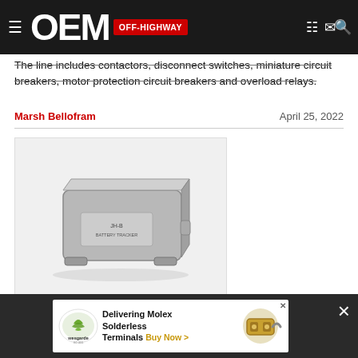OEM OFF-HIGHWAY
The line includes contactors, disconnect switches, miniature circuit breakers, motor protection circuit breakers and overload relays.
Marsh Bellofram    April 25, 2022
[Figure (photo): Photo of a rectangular grey industrial battery device (JH-B series) on white background]
Batteries, Capacitors
Gauge Jackhammer Battery-Powered Tracking Devices
The JH-B... rugged durability ... a 17-